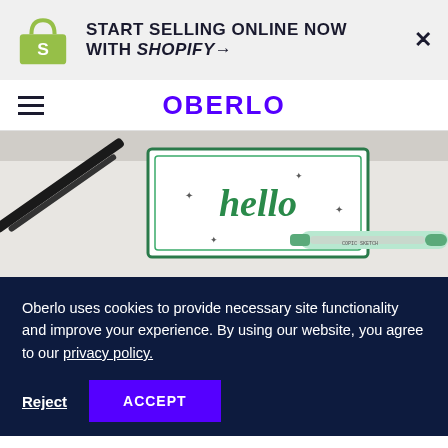[Figure (infographic): Shopify promotional banner with Shopify bag logo and text 'START SELLING ONLINE NOW WITH SHOPIFY→' and a close X button]
OBERLO
[Figure (photo): Photo of calligraphy 'hello' card with pens and markers on a white surface]
Oberlo uses cookies to provide necessary site functionality and improve your experience. By using our website, you agree to our privacy policy.
Reject   ACCEPT